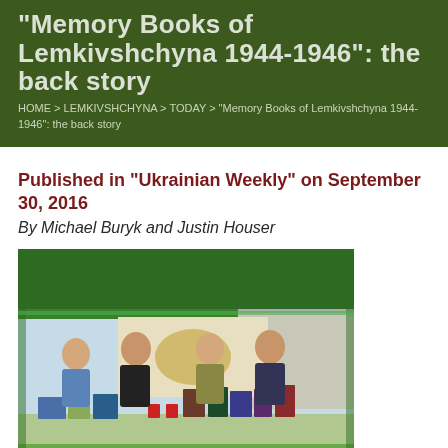"Memory Books of Lemkivshchyna 1944-1946": the back story
HOME > LEMKIVSHCHYNA > TODAY > "Memory Books of Lemkivshchyna 1944-1946": the back story
Published in “Ukrainian Weekly” on September 30, 2016
By Michael Buryk and Justin Houser
[Figure (photo): Four people sitting at a table under a green tent at an outdoor event, with books displayed on the table. Table has green banners reading 'OOL information' and 'LEMKO HERITAGE'. A map is visible in the background.]
PICTURE: Andriy Khomyk – President of LRF (second from left) promotes the